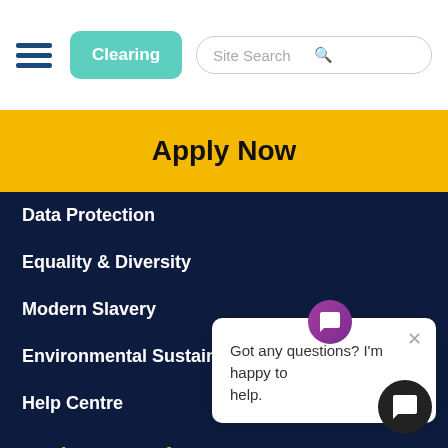Clearing | Site Search
Apply Now
Data Protection
Equality & Diversity
Modern Slavery
Environmental Sustainability
Help Centre
Students & Staff
Staff Area
Staff Directory
Students Area
Got any questions? I'm happy to help.